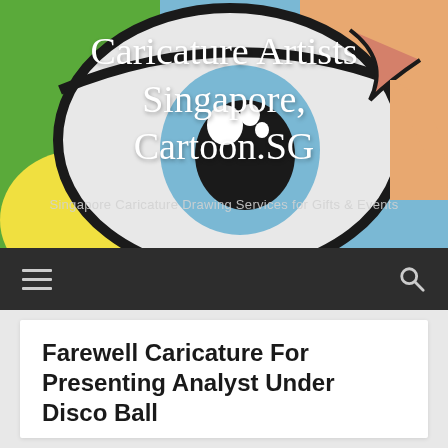[Figure (illustration): Colorful cartoon caricature face close-up with large eyes, glasses, on a background of green, blue, and orange/skin tones]
Caricature Artists Singapore, Cartoon.SG
Singapore Caricature Drawing Services for Gifts & Events
≡    🔍
Farewell Caricature For Presenting Analyst Under Disco Ball